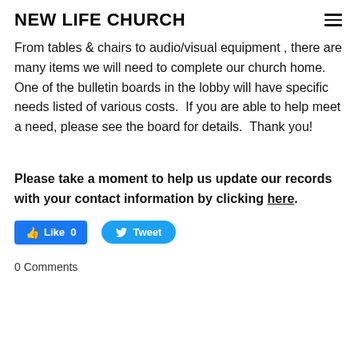NEW LIFE CHURCH
From tables & chairs to audio/visual equipment , there are many items we will need to complete our church home.  One of the bulletin boards in the lobby will have specific needs listed of various costs.  If you are able to help meet a need, please see the board for details.  Thank you!
Please take a moment to help us update our records with your contact information by clicking here.
[Figure (other): Facebook Like button showing 'Like 0' and Twitter Tweet button]
0 Comments